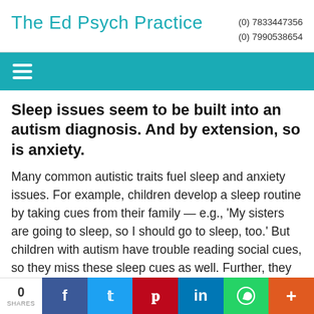The Ed Psych Practice   (0) 7833447356  (0) 7990538654
Sleep issues seem to be built into an autism diagnosis. And by extension, so is anxiety.
Many common autistic traits fuel sleep and anxiety issues. For example, children develop a sleep routine by taking cues from their family — e.g., 'My sisters are going to sleep, so I should go to sleep, too.' But children with autism have trouble reading social cues, so they miss these sleep cues as well. Further, they often have long pre-sleep rituals which could delay
0 SHARES  f  t  p  in  (whatsapp)  +